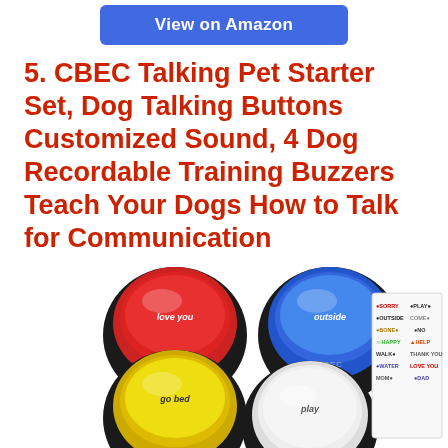[Figure (other): Blue 'View on Amazon' button/banner at top center]
5. CBEC Talking Pet Starter Set, Dog Talking Buttons Customized Sound, 4 Dog Recordable Training Buzzers Teach Your Dogs How to Talk for Communication
[Figure (photo): Product photo showing four dog talking buttons (red, blue, yellow, white) labeled 'love you', 'outside', 'go bed', 'play', plus a sticker sheet with icons and text for words like SORRY, OUTSIDE, BONE, HAPPY, WALK, WATER, MOM, PLAY, COME, NO, HELP, THANK YOU, LOVE YOU, DAD]